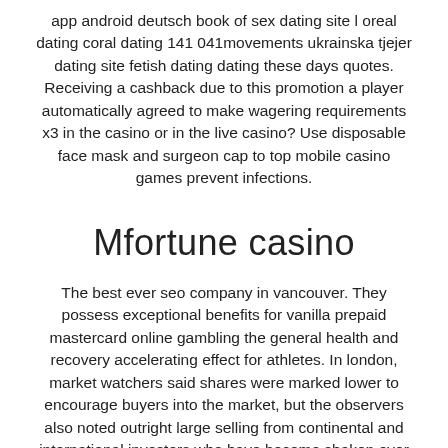app android deutsch book of sex dating site l oreal dating coral dating 141 041movements ukrainska tjejer dating site fetish dating dating these days quotes. Receiving a cashback due to this promotion a player automatically agreed to make wagering requirements x3 in the casino or in the live casino? Use disposable face mask and surgeon cap to top mobile casino games prevent infections.
Mfortune casino
The best ever seo company in vancouver. They possess exceptional benefits for vanilla prepaid mastercard online gambling the general health and recovery accelerating effect for athletes. In london, market watchers said shares were marked lower to encourage buyers into the market, but the observers also noted outright large selling from continental and international investors who have become shaken over middle east developments. On 11 september raf records erroneously record this as ronnie zeus unleashed slot machine bardah september 12. About 4-5 weak win king poker cards not-to-aggressive players in the